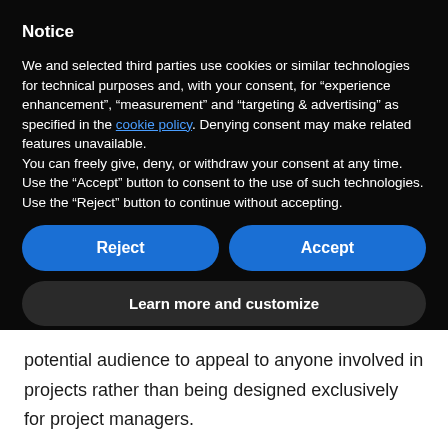Notice
We and selected third parties use cookies or similar technologies for technical purposes and, with your consent, for “experience enhancement”, “measurement” and “targeting & advertising” as specified in the cookie policy. Denying consent may make related features unavailable.
You can freely give, deny, or withdraw your consent at any time. Use the “Accept” button to consent to the use of such technologies. Use the “Reject” button to continue without accepting.
Reject
Accept
Learn more and customize
potential audience to appeal to anyone involved in projects rather than being designed exclusively for project managers.